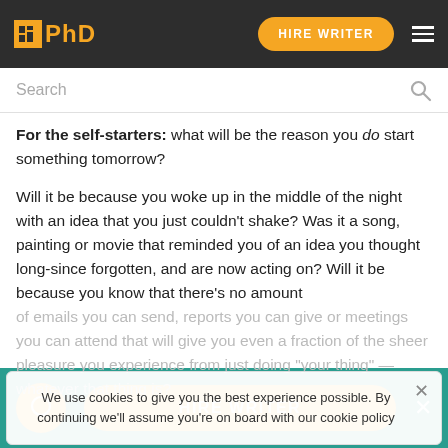PhD — HIRE WRITER
Search
For the self-starters: what will be the reason you do start something tomorrow?

Will it be because you woke up in the middle of the night with an idea that you just couldn't shake? Was it a song, painting or movie that reminded you of an idea you thought long-since forgotten, and are now acting on? Will it be because you know that there's no amount of emails you can send, reports you can give or meetings you can attend that will give you even a fraction of the sheer pleasure you experience from just doing "your thing" — whatever that thing is?
We use cookies to give you the best experience possible. By continuing we'll assume you're on board with our cookie policy
HIRE WRITER